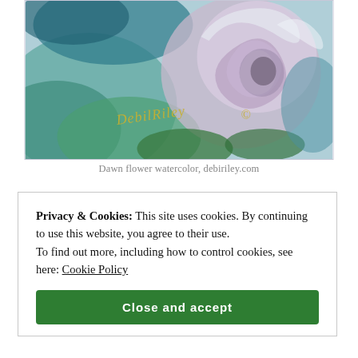[Figure (illustration): Watercolor painting of a flower (rose) in blue, purple, green and white tones with an artist signature reading 'DebilRiley' in gold/yellow cursive script]
Dawn flower watercolor, debiriley.com
Privacy & Cookies: This site uses cookies. By continuing to use this website, you agree to their use.
To find out more, including how to control cookies, see here: Cookie Policy
Close and accept